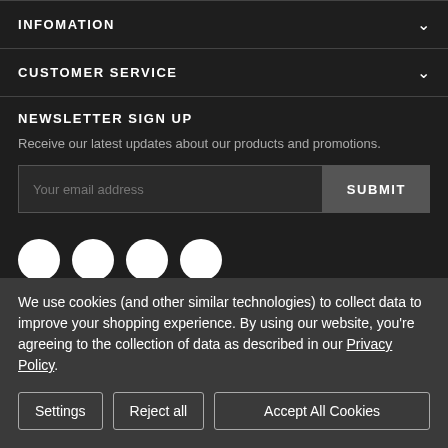INFOMATION
CUSTOMER SERVICE
NEWSLETTER SIGN UP
Receive our latest updates about our products and promotions.
Your email address
SUBMIT
[Figure (other): Four white social media icon circles]
We use cookies (and other similar technologies) to collect data to improve your shopping experience. By using our website, you're agreeing to the collection of data as described in our Privacy Policy.
Settings
Reject all
Accept All Cookies